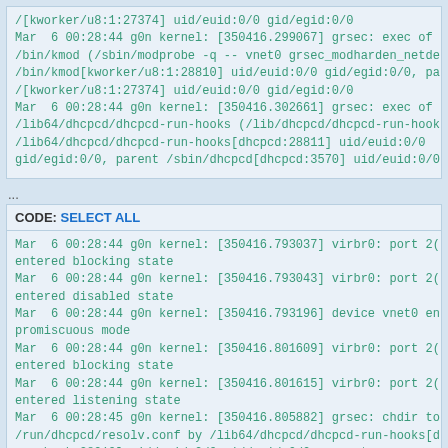/[kworker/u8:1:27374] uid/euid:0/0 gid/egid:0/0
Mar  6 00:28:44 g0n kernel: [350416.299067] grsec: exec of /bin/kmod (/sbin/modprobe -q -- vnet0 grsec_modharden_netde /bin/kmod[kworker/u8:1:28810] uid/euid:0/0 gid/egid:0/0, pa /[kworker/u8:1:27374] uid/euid:0/0 gid/egid:0/0
Mar  6 00:28:44 g0n kernel: [350416.302661] grsec: exec of /lib64/dhcpcd/dhcpcd-run-hooks (/lib/dhcpcd/dhcpcd-run-hook /lib64/dhcpcd/dhcpcd-run-hooks[dhcpcd:28811] uid/euid:0/0 gid/egid:0/0, parent /sbin/dhcpcd[dhcpcd:3570] uid/euid:0/0
...
CODE: SELECT ALL
Mar  6 00:28:44 g0n kernel: [350416.793037] virbr0: port 2( entered blocking state
Mar  6 00:28:44 g0n kernel: [350416.793043] virbr0: port 2( entered disabled state
Mar  6 00:28:44 g0n kernel: [350416.793196] device vnet0 en promiscuous mode
Mar  6 00:28:44 g0n kernel: [350416.801609] virbr0: port 2( entered blocking state
Mar  6 00:28:44 g0n kernel: [350416.801615] virbr0: port 2( entered listening state
Mar  6 00:28:45 g0n kernel: [350416.805882] grsec: chdir to /run/dhcpcd/resolv.conf by /lib64/dhcpcd/dhcpcd-run-hooks[d run-hook:28910] uid/euid:0/0 gid/egid:0/0, parent